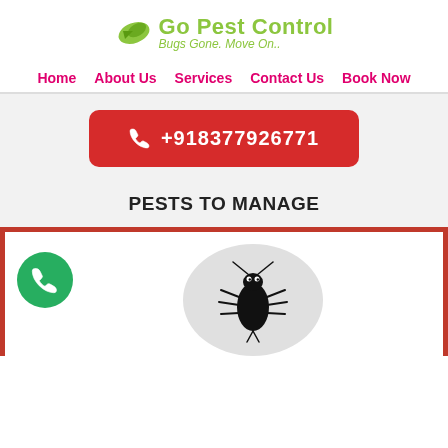[Figure (logo): Go Pest Control logo with green bird and text 'Go Pest Control' and tagline 'Bugs Gone. Move On..']
Home   About Us   Services   Contact Us   Book Now
+918377926771
PESTS TO MANAGE
[Figure (illustration): White card with red border showing a green phone circle icon on the left and a cockroach illustration inside a gray circle in the center]